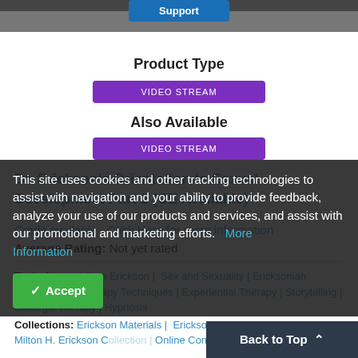[Figure (screenshot): Top portion of a product image partially visible at the top of the page, with a blue Support button overlaid]
Product Type
VIDEO STREAM
Also Available
VIDEO STREAM
Dr. Erickson's Orientation to Sexual Development Part 2 (CE Available)
Credit available - Click Here for more information
Average Rating: Not yet rated
Topic Areas: Milton Erickson | Sex and Sexuality | Ericksonian Hypnosis and Therapy Techniques | Experiential Therapy | Storytelling | Strategic Therapy | Hypnosis
Collections: Erickson Materials | Erickson Streaming Collection | Milton H. Erickson Collection | Online Continuing Education
This site uses cookies and other tracking technologies to assist with navigation and your ability to provide feedback, analyze your use of our products and services, and assist with our promotional and marketing efforts. More Information
Accept
Back to Top